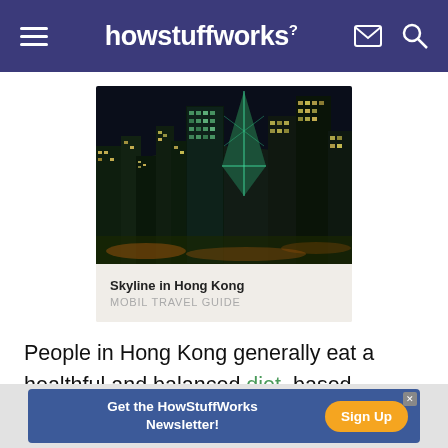howstuffworks
[Figure (photo): Aerial night-time photo of the Hong Kong skyline showing illuminated skyscrapers and city lights]
Skyline in Hong Kong
MOBIL TRAVEL GUIDE
People in Hong Kong generally eat a healthful and balanced diet, based around rice, vegetables and
Get the HowStuffWorks Newsletter! Sign Up